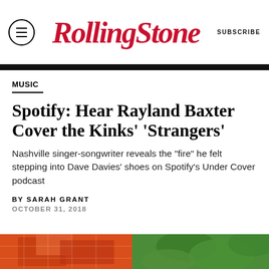Rolling Stone — SUBSCRIBE
MUSIC
Spotify: Hear Rayland Baxter Cover the Kinks' 'Strangers'
Nashville singer-songwriter reveals the "fire" he felt stepping into Dave Davies' shoes on Spotify's Under Cover podcast
BY SARAH GRANT
OCTOBER 31, 2018
[Figure (photo): Bottom portion of a photo showing colorful graphic/album art elements in red and orange tones with green foliage in the background]